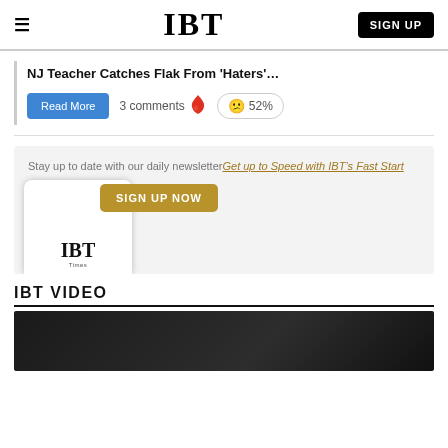IBT
NJ Teacher Catches Flak From 'Haters'…
3 comments 52%
Stay up to date with our daily newsletter Get up to Speed with IBT's Fast Start
IBT VIDEO
[Figure (screenshot): Dark video thumbnail at bottom of page]